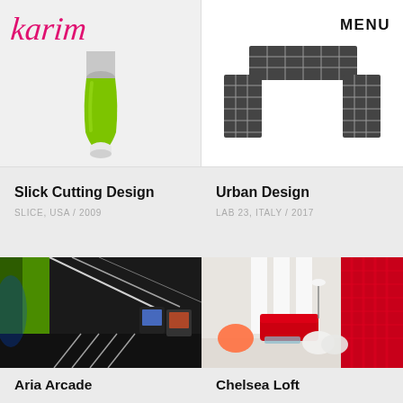[Figure (logo): Karim handwritten script logo in pink/red]
[Figure (photo): Green-handled peeler/razor product on light grey background]
MENU
[Figure (illustration): Dark grey lattice/grid bench furniture piece on white background]
Slick Cutting Design
SLICE, USA / 2009
Urban Design
LAB 23, ITALY / 2017
[Figure (photo): Interior of arcade with green walls, neon lighting, gaming machines]
[Figure (photo): Modern loft interior with red sofa, pink and white chairs, red patterned wall]
Aria Arcade
Chelsea Loft